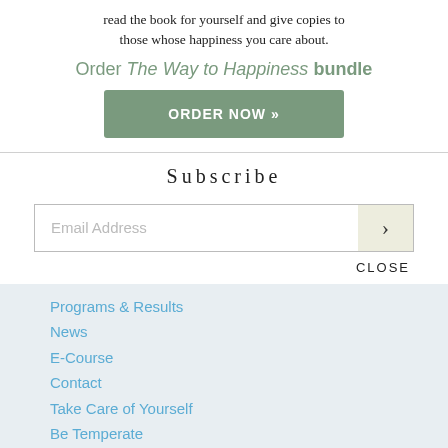read the book for yourself and give copies to those whose happiness you care about.
Order The Way to Happiness bundle
ORDER NOW »
Subscribe
Email Address
CLOSE
Programs & Results
News
E-Course
Contact
Take Care of Yourself
Be Temperate
Don't Be Promiscuous
Love and Help Children